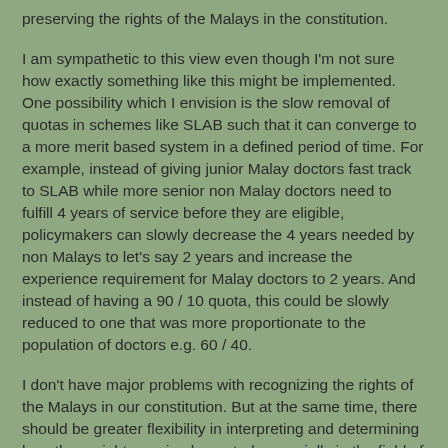preserving the rights of the Malays in the constitution.
I am sympathetic to this view even though I'm not sure how exactly something like this might be implemented. One possibility which I envision is the slow removal of quotas in schemes like SLAB such that it can converge to a more merit based system in a defined period of time. For example, instead of giving junior Malay doctors fast track to SLAB while more senior non Malay doctors need to fulfill 4 years of service before they are eligible, policymakers can slowly decrease the 4 years needed by non Malays to let's say 2 years and increase the experience requirement for Malay doctors to 2 years. And instead of having a 90 / 10 quota, this could be slowly reduced to one that was more proportionate to the population of doctors e.g. 60 / 40.
I don't have major problems with recognizing the rights of the Malays in our constitution. But at the same time, there should be greater flexibility in interpreting and determining how these rights are implemented, especially in the field of higher education, where quality and scholarship ability are more important than the race of a person.